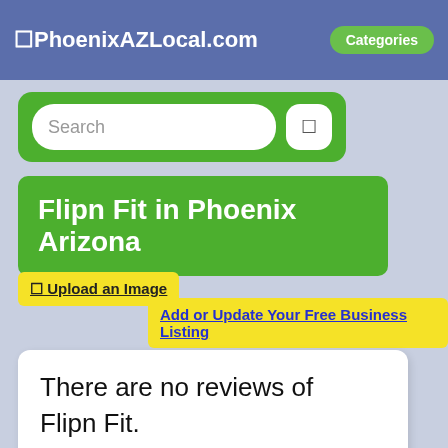☐PhoenixAZLocal.com  Categories
[Figure (screenshot): Search bar with green background and search button]
Flipn Fit in Phoenix Arizona
☐ Upload an Image
Add or Update Your Free Business Listing
There are no reviews of Flipn Fit. Be the first to ☐ Write a Review.